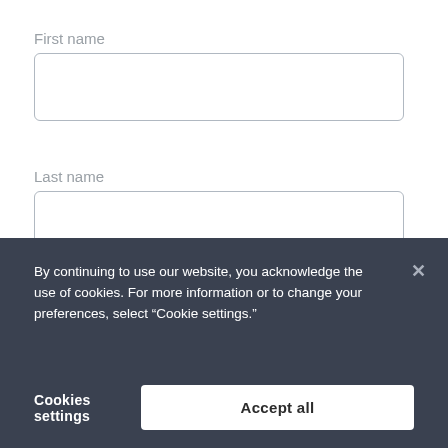First name
[Figure (screenshot): Empty text input field for First name]
Last name
[Figure (screenshot): Empty text input field for Last name]
Work email
[Figure (screenshot): Partially visible empty text input field for Work email]
By continuing to use our website, you acknowledge the use of cookies. For more information or to change your preferences, select “Cookie settings.”
Cookies settings
Accept all